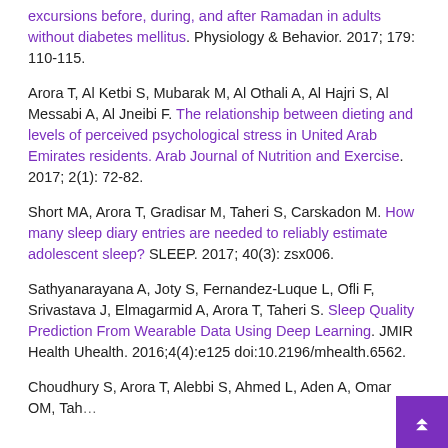excursions before, during, and after Ramadan in adults without diabetes mellitus. Physiology & Behavior. 2017; 179: 110-115.
Arora T, Al Ketbi S, Mubarak M, Al Othali A, Al Hajri S, Al Messabi A, Al Jneibi F. The relationship between dieting and levels of perceived psychological stress in United Arab Emirates residents. Arab Journal of Nutrition and Exercise. 2017; 2(1): 72-82.
Short MA, Arora T, Gradisar M, Taheri S, Carskadon M. How many sleep diary entries are needed to reliably estimate adolescent sleep? SLEEP. 2017; 40(3): zsx006.
Sathyanarayana A, Joty S, Fernandez-Luque L, Ofli F, Srivastava J, Elmagarmid A, Arora T, Taheri S. Sleep Quality Prediction From Wearable Data Using Deep Learning. JMIR Health Uhealth. 2016;4(4):e125 doi:10.2196/mhealth.6562.
Choudhury S, Arora T, Alebbi S, Ahmed L, Aden A, Omar OM, Tah...